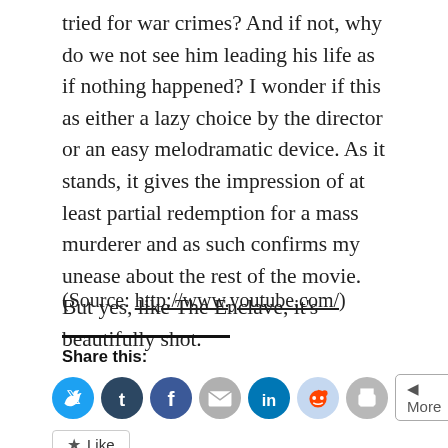tried for war crimes? And if not, why do we not see him leading his life as if nothing happened? I wonder if this as either a lazy choice by the director or an easy melodramatic device. As it stands, it gives the impression of at least partial redemption for a mass murderer and as such confirms my unease about the rest of the movie. But yes, like The Enclave, it's beautifully shot.
(Source: http://www.youtube.com/)
Share this:
[Figure (infographic): Social share buttons: Twitter, Tumblr, Facebook, Email, LinkedIn, Reddit, Print, and More]
[Figure (infographic): Like button widget]
Be the first to like this.